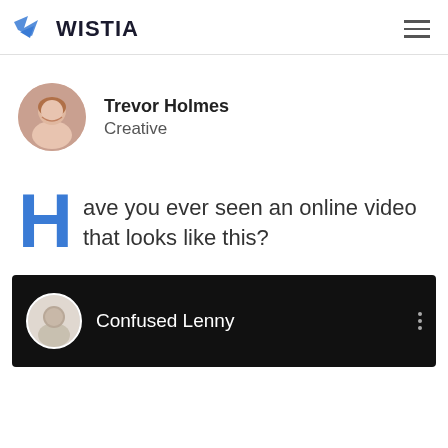WISTIA
[Figure (illustration): Author avatar of Trevor Holmes, a man with beard]
Trevor Holmes
Creative
Have you ever seen an online video that looks like this?
[Figure (screenshot): Dark video player UI showing 'Confused Lenny' with a circular avatar and three-dot menu]